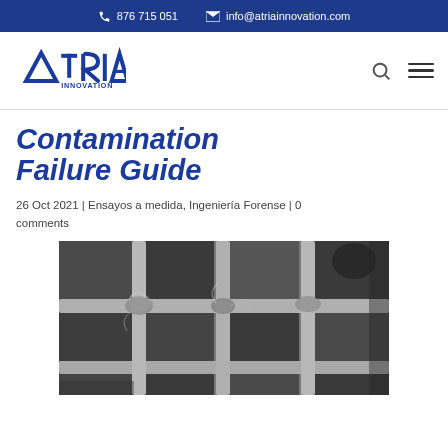876 715 051  info@atriainnovation.com
[Figure (logo): ATRIA INNOVATION company logo in blue, with stylized triangle letters and 'INNOVATION' text below]
Contamination Failure Guide
26 Oct 2021 | Ensayos a medida, Ingeniería Forense | 0 comments
[Figure (photo): Scanning electron microscope (SEM) image of a mesh or filter material showing grid-like fibers with contamination particles or damage at the intersections, in grayscale]